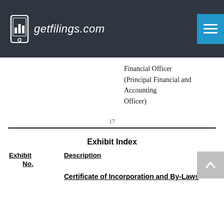[Figure (logo): getfilings.com logo with phone icon on dark header bar]
Financial Officer
(Principal Financial and Accounting Officer)
17
Exhibit Index
| Exhibit No. | Description |
| --- | --- |
|  | Certificate of Incorporation and By-Laws |
Certificate of Incorporation and By-Laws